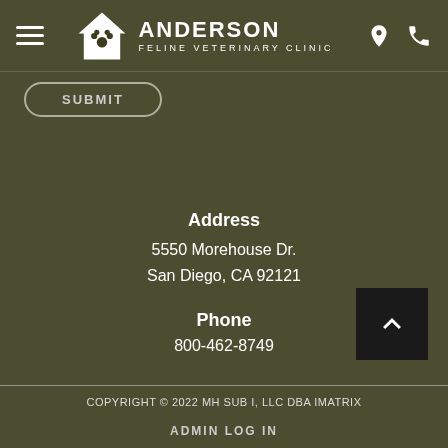ANDERSON FELINE VETERINARY CLINIC
SUBMIT
Address
5550 Morehouse Dr.
San Diego, CA 92121
Phone
800-462-8749
[Figure (other): Back to top button with upward chevron arrow on dark background]
COPYRIGHT © 2022 MH SUB I, LLC DBA IMATRIX
ADMIN LOG IN